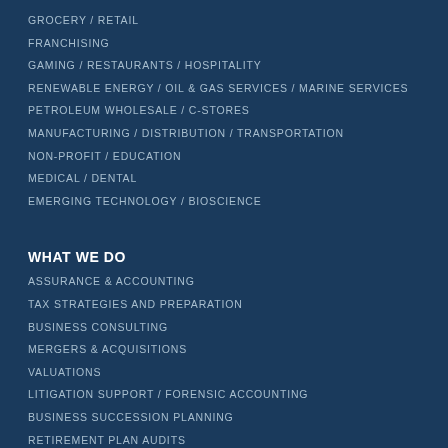GROCERY / RETAIL
FRANCHISING
GAMING / RESTAURANTS / HOSPITALITY
RENEWABLE ENERGY / OIL & GAS SERVICES / MARINE SERVICES
PETROLEUM WHOLESALE / C-STORES
MANUFACTURING / DISTRIBUTION / TRANSPORTATION
NON-PROFIT / EDUCATION
MEDICAL / DENTAL
EMERGING TECHNOLOGY / BIOSCIENCE
WHAT WE DO
ASSURANCE & ACCOUNTING
TAX STRATEGIES AND PREPARATION
BUSINESS CONSULTING
MERGERS & ACQUISITIONS
VALUATIONS
LITIGATION SUPPORT / FORENSIC ACCOUNTING
BUSINESS SUCCESSION PLANNING
RETIREMENT PLAN AUDITS